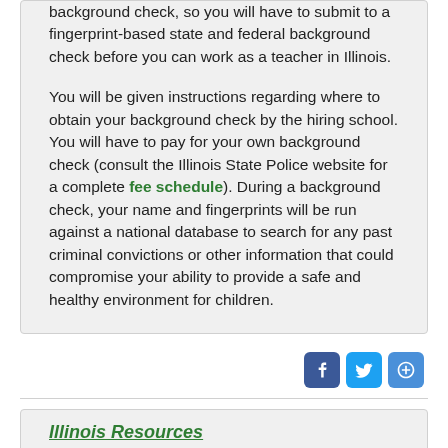background check, so you will have to submit to a fingerprint-based state and federal background check before you can work as a teacher in Illinois.
You will be given instructions regarding where to obtain your background check by the hiring school. You will have to pay for your own background check (consult the Illinois State Police website for a complete fee schedule). During a background check, your name and fingerprints will be run against a national database to search for any past criminal convictions or other information that could compromise your ability to provide a safe and healthy environment for children.
[Figure (other): Social media share buttons: Facebook (blue), Twitter (light blue), and a generic share button (blue) aligned to the right]
Illinois Resources